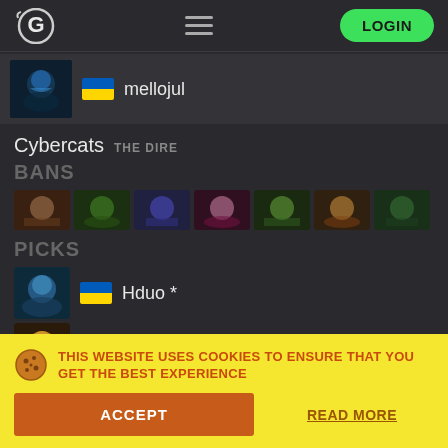LOGIN
[Figure (screenshot): Player avatar for mellojul with Ukrainian flag]
mellojul
Cybercats THE DIRE
BANS
[Figure (screenshot): Row of 7 hero ban thumbnail images]
PICKS
[Figure (screenshot): Pick row: hero avatar, Ukrainian flag, Hduo *]
Hduo *
[Figure (screenshot): Pick row: hero avatar, Russian flag, Spirit *]
Spirit *
[Figure (screenshot): Pick row: hero avatar, Russian flag, Fezor]
Fezor
THIS WEBSITE USES COOKIES TO ENSURE THAT YOU GET THE BEST EXPERIENCE
ACCEPT
READ MORE